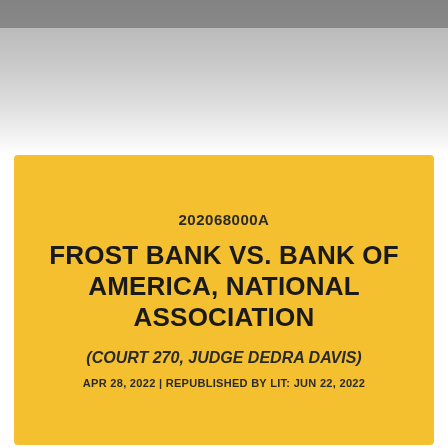[Figure (photo): Grayscale photo banner at top of page, partially visible, showing a blurred/cropped image with dark tones at the top.]
202068000A
FROST BANK VS. BANK OF AMERICA, NATIONAL ASSOCIATION
(COURT 270, JUDGE DEDRA DAVIS)
APR 28, 2022 | REPUBLISHED BY LIT: JUN 22, 2022